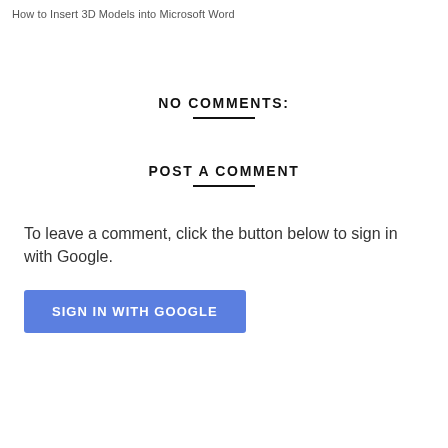How to Insert 3D Models into Microsoft Word
NO COMMENTS:
POST A COMMENT
To leave a comment, click the button below to sign in with Google.
SIGN IN WITH GOOGLE